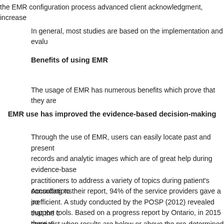the EMR configuration process advanced client acknowledgment, increase
In general, most studies are based on the implementation and evalu
Benefits of using EMR
The usage of EMR has numerous benefits which prove that they are
EMR use has improved the evidence-based decision-making
Through the use of EMR, users can easily locate past and present records and analytic images which are of great help during evidence-base practitioners to address a variety of topics during patient's consultations inefficient. A study conducted by the POSP (2012) revealed that the c specialist when results are below or above the pre-determined points wer
According to their report, 94% of the service providers gave a po support tools. Based on a progress report by Ontario, in 2015 there w suggest that the providers are adopting the use of EMR in patient care.